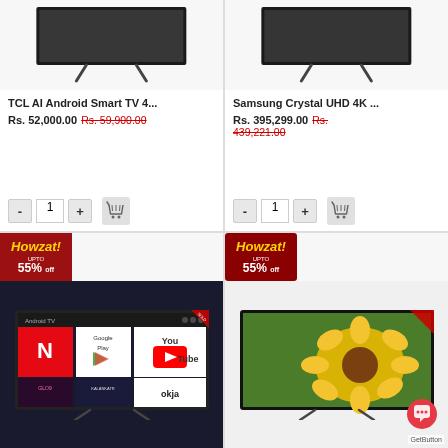[Figure (screenshot): TCL AI Android Smart TV product image on white background with stand]
TCL AI Android Smart TV 4...
Rs. 52,000.00  Rs. 59,900.00
[Figure (screenshot): Samsung Crystal UHD 4K TV product image on white background with stand]
Samsung Crystal UHD 4K ...
Rs. 395,299.00  Rs. 439,221.00
[Figure (screenshot): Howzat sale badge with Up to 55% off, and smart TV showing Netflix, YouTube, Google Play apps on screen]
[Figure (screenshot): Howzat sale badge with Up to 55% off, and Samsung TV with sunflower display image and chat button overlay]